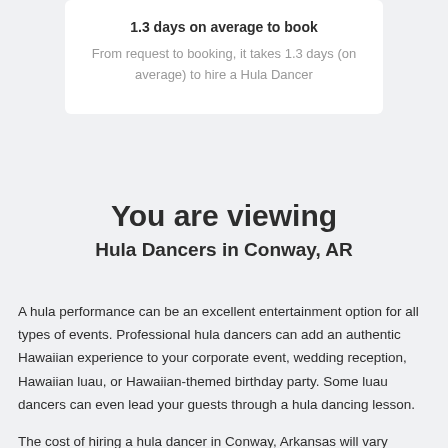1.3 days on average to book
From request to booking, it takes 1.3 days (on average) to hire a Hula Dancer
You are viewing
Hula Dancers in Conway, AR
A hula performance can be an excellent entertainment option for all types of events. Professional hula dancers can add an authentic Hawaiian experience to your corporate event, wedding reception, Hawaiian luau, or Hawaiian-themed birthday party. Some luau dancers can even lead your guests through a hula dancing lesson.
The cost of hiring a hula dancer in Conway, Arkansas will vary